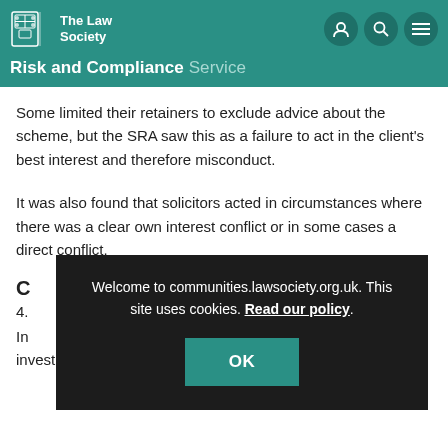The Law Society — Risk and Compliance Service
Some limited their retainers to exclude advice about the scheme, but the SRA saw this as a failure to act in the client's best interest and therefore misconduct.
It was also found that solicitors acted in circumstances where there was a clear own interest conflict or in some cases a direct conflict.
[Figure (screenshot): Cookie consent overlay on dark semi-transparent background with text: 'Welcome to communities.lawsociety.org.uk. This site uses cookies. Read our policy.' and an OK button.]